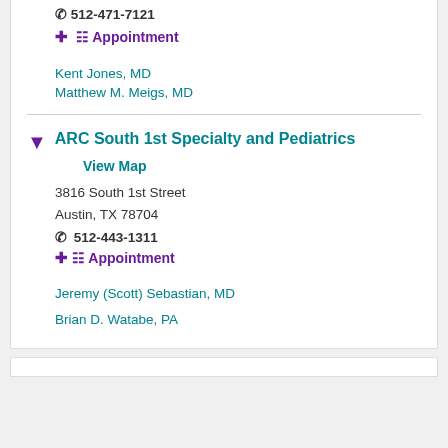512-471-7121 (truncated at top)
Appointment
Kent Jones, MD
Matthew M. Meigs, MD
ARC South 1st Specialty and Pediatrics
View Map
3816 South 1st Street
Austin, TX 78704
512-443-1311
Appointment
Jeremy (Scott) Sebastian, MD
Brian D. Watabe, PA